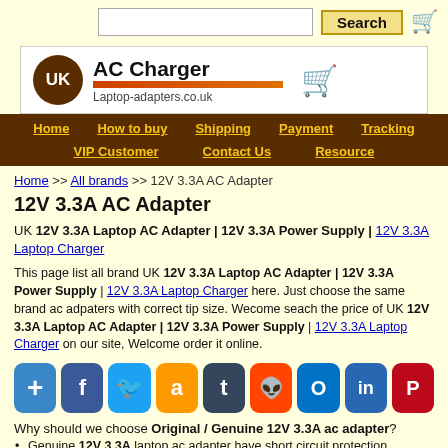[Figure (screenshot): Website header with search bar, Search button, and cart icon]
[Figure (logo): AC Charger UK logo with Laptop-adapters.co.uk URL and shopping cart icon]
Home | How to buy | Shipping | Payment | Tracking | VIP Customer | Contact Us | Resource
Home >> All brands >> 12V 3.3A AC Adapter
12V 3.3A AC Adapter
UK 12V 3.3A Laptop AC Adapter | 12V 3.3A Power Supply | 12V 3.3A Laptop Charger
This page list all brand UK 12V 3.3A Laptop AC Adapter | 12V 3.3A Power Supply | 12V 3.3A Laptop Charger here. Just choose the same brand ac adpaters with correct tip size. Wecome seach the price of UK 12V 3.3A Laptop AC Adapter | 12V 3.3A Power Supply | 12V 3.3A Laptop Charger on our site, Welcome order it online.
[Figure (infographic): Social sharing buttons: Google+, Facebook, Twitter, Amazon, Tumblr, Reddit, Outlook, LinkedIn, Pinterest]
Why should we choose Original / Genuine 12V 3.3A ac adapter?
Genuine 12V 3.3A laptop ac adapter have short circuit protection